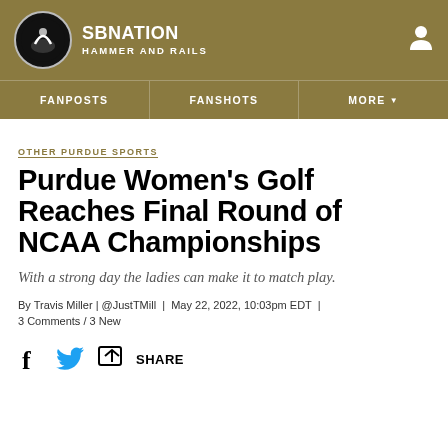SB NATION | HAMMER AND RAILS
OTHER PURDUE SPORTS
Purdue Women's Golf Reaches Final Round of NCAA Championships
With a strong day the ladies can make it to match play.
By Travis Miller | @JustTMill | May 22, 2022, 10:03pm EDT | 3 Comments / 3 New